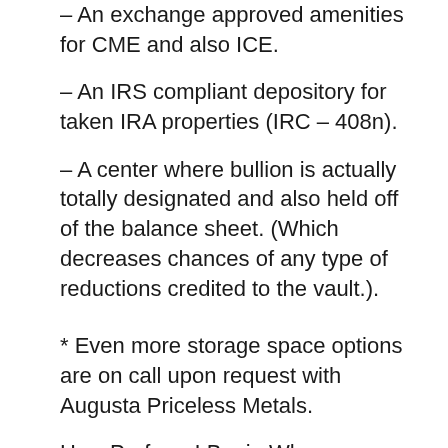– An exchange approved amenities for CME and also ICE.
– An IRS compliant depository for taken IRA properties (IRC – 408n).
– A center where bullion is actually totally designated and also held off of the balance sheet. (Which decreases chances of any type of reductions credited to the vault.).
* Even more storage space options are on call upon request with Augusta Priceless Metals.
How Perform I Begin When Opening a Gold